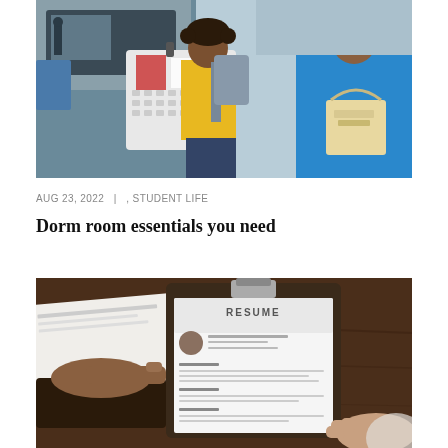[Figure (photo): Young woman with curly hair in yellow shirt smiling, carrying a white laundry basket, with an older man in blue shirt holding bags, both unloading a car — college move-in scene]
AUG 23, 2022  |  , STUDENT LIFE
Dorm room essentials you need
[Figure (photo): Close-up of hands holding a clipboard with a resume document on a wooden table, another person's hand visible writing on paper in the background]